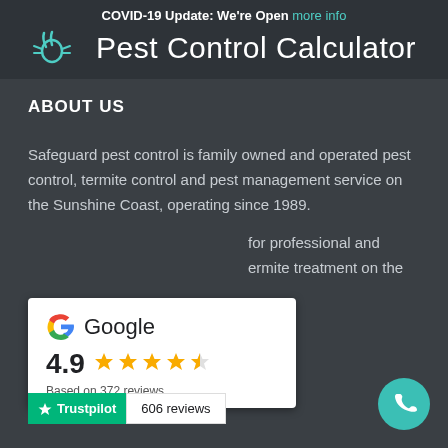COVID-19 Update: We're Open  more info
Pest Control Calculator
ABOUT US
Safeguard pest control is family owned and operated pest control, termite control and pest management service on the Sunshine Coast, operating since 1989.
for professional and ermite treatment on the
[Figure (other): Google review card showing 4.9 stars rating based on 372 reviews]
[Figure (other): Trustpilot badge showing 606 reviews]
[Figure (other): Green phone call button]